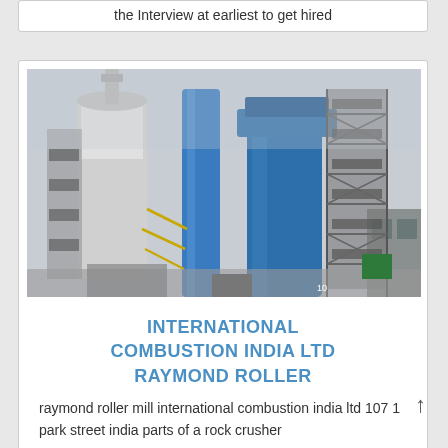the Interview at earliest to get hired
[Figure (photo): Industrial combustion plant with large cylindrical towers, blue pipes, and metal scaffolding/gantry structures against an overcast sky.]
INTERNATIONAL COMBUSTION INDIA LTD RAYMOND ROLLER
raymond roller mill international combustion india ltd 107 1 park street india parts of a rock crusher